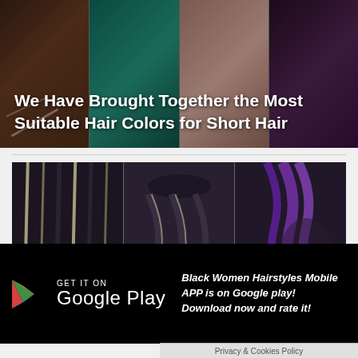[Figure (photo): Four-panel collage of women with short natural hairstyles showing different hair colors and styling]
We Have Brought Together the Most Suitable Hair Colors for Short Hair
[Figure (photo): Three-panel collage of women with braided hairstyles, including cornrows and purple box braids]
X CLOSE
[Figure (logo): Google Play store badge with play button triangle logo, GET IT ON Google Play text]
Black Women Hairstyles Mobile APP is on Google play! Download now and rate it!
Privacy & Cookies Policy